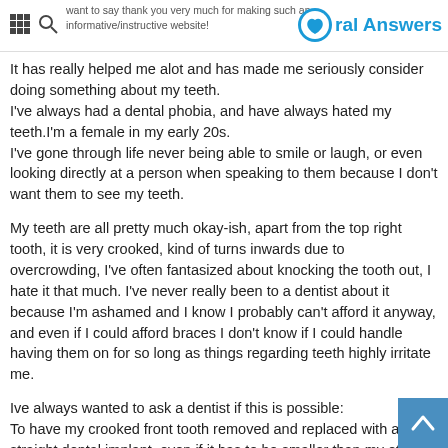want to say thank you very much for making such an informative/instructive website!
It has really helped me alot and has made me seriously consider doing something about my teeth.
I've always had a dental phobia, and have always hated my teeth.I'm a female in my early 20s.
I've gone through life never being able to smile or laugh, or even looking directly at a person when speaking to them because I don't want them to see my teeth.
My teeth are all pretty much okay-ish, apart from the top right tooth, it is very crooked, kind of turns inwards due to overcrowding, I've often fantasized about knocking the tooth out, I hate it that much. I've never really been to a dentist about it because I'm ashamed and I know I probably can't afford it anyway, and even if I could afford braces I don't know if I could handle having them on for so long as things regarding teeth highly irritate me.
Ive always wanted to ask a dentist if this is possible:
To have my crooked front tooth removed and replaced with a straight dental implant, even if it has to be smaller than my other tooth, just to stop it from being so obvious.